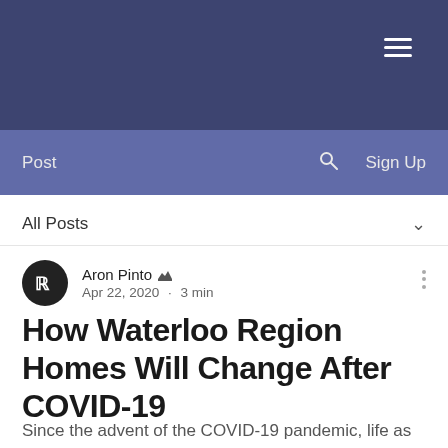[Figure (screenshot): Website navigation top bar with dark blue-grey background and hamburger menu icon (three horizontal white lines) in the top right corner.]
Post  🔍  Sign Up
All Posts ∨
Aron Pinto 👑
Apr 22, 2020 · 3 min
How Waterloo Region Homes Will Change After COVID-19
Since the advent of the COVID-19 pandemic, life as we know it has